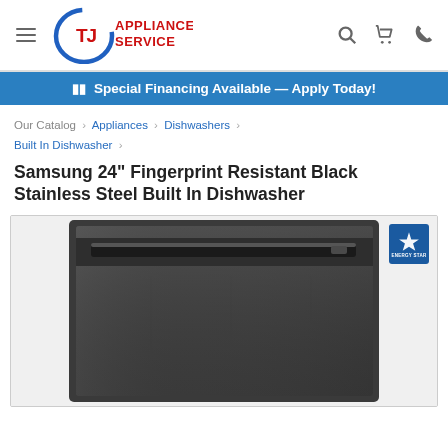TJ Appliance Service — navigation header with logo, hamburger menu, search, cart, and phone icons
Special Financing Available — Apply Today!
Our Catalog › Appliances › Dishwashers › Built In Dishwasher ›
Samsung 24" Fingerprint Resistant Black Stainless Steel Built In Dishwasher
[Figure (photo): Samsung 24-inch Fingerprint Resistant Black Stainless Steel Built-In Dishwasher product photo showing the front panel in dark stainless finish with a horizontal bar handle, and an Energy Star badge in the top right corner.]